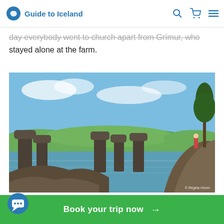Guide to Iceland
day everybody went to church apart from Grímur, who stayed alone at the farm.
[Figure (photo): Scenic landscape photo of Kálfastrandarvogar and Lake Mývatn, Iceland. Dark lava rock formations rise from calm blue-green water, with green rolling hills in the background under a partly cloudy blue sky. A person stands on a rock formation at the right. A pine tree is visible at the far right.]
Kálfastrandarvogar and Lake Mývatn
Nothing of importance happened until next Christmas.
Book your trip now →